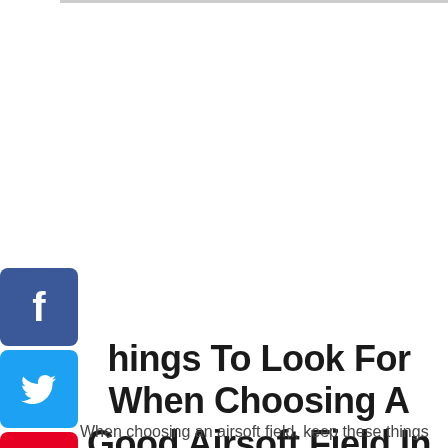[Figure (other): Social media share buttons sidebar: Facebook (blue), Twitter (light blue), Pinterest (red), LinkedIn (dark blue), arranged vertically on the left side]
Things To Look For When Choosing A Good Airsoft Field In Connecticut
When choosing an airsoft field, keep these things